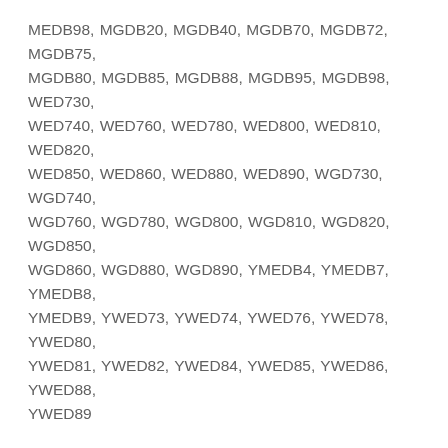MEDB98, MGDB20, MGDB40, MGDB70, MGDB72, MGDB75, MGDB80, MGDB85, MGDB88, MGDB95, MGDB98, WED730, WED740, WED760, WED780, WED800, WED810, WED820, WED850, WED860, WED880, WED890, WGD730, WGD740, WGD760, WGD780, WGD800, WGD810, WGD820, WGD850, WGD860, WGD880, WGD890, YMEDB4, YMEDB7, YMEDB8, YMEDB9, YWED73, YWED74, YWED76, YWED78, YWED80, YWED81, YWED82, YWED84, YWED85, YWED86, YWED88, YWED89
Part Numbers: W11117302, AP6245906, 8544723, W10685670, WP8544723, 4538922, PS12114312
Ultra Durable Replacement Grill-Out Lint Screen Filter Case Cover Compatible with Whirlpool Dryer
Premium Quality: We utilize premium, highly durable materials guaranteed to exceed OEM specifications
LAP Guarantee: For any reason you're not completely